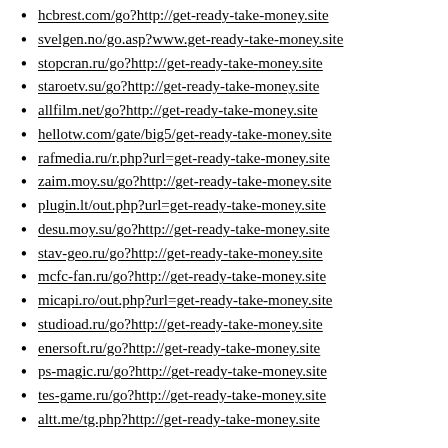hcbrest.com/go?http://get-ready-take-money.site
svelgen.no/go.asp?www.get-ready-take-money.site
stopcran.ru/go?http://get-ready-take-money.site
staroetv.su/go?http://get-ready-take-money.site
allfilm.net/go?http://get-ready-take-money.site
hellotw.com/gate/big5/get-ready-take-money.site
rafmedia.ru/r.php?url=get-ready-take-money.site
zaim.moy.su/go?http://get-ready-take-money.site
plugin.lt/out.php?url=get-ready-take-money.site
desu.moy.su/go?http://get-ready-take-money.site
stav-geo.ru/go?http://get-ready-take-money.site
mcfc-fan.ru/go?http://get-ready-take-money.site
micapi.ro/out.php?url=get-ready-take-money.site
studioad.ru/go?http://get-ready-take-money.site
enersoft.ru/go?http://get-ready-take-money.site
ps-magic.ru/go?http://get-ready-take-money.site
tes-game.ru/go?http://get-ready-take-money.site
altt.me/tg.php?http://get-ready-take-money.site